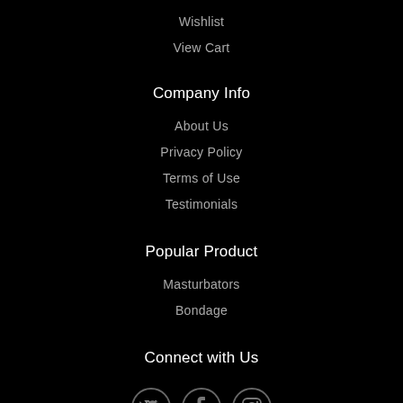Wishlist
View Cart
Company Info
About Us
Privacy Policy
Terms of Use
Testimonials
Popular Product
Masturbators
Bondage
Connect with Us
[Figure (illustration): Three social media icons in circles: Twitter bird, Facebook f, Instagram camera]